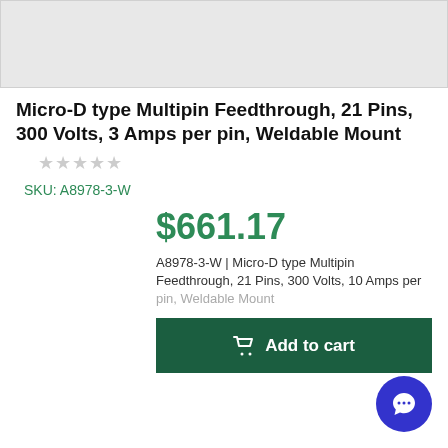[Figure (photo): Product image placeholder area (light gray background)]
Micro-D type Multipin Feedthrough, 21 Pins, 300 Volts, 3 Amps per pin, Weldable Mount
SKU: A8978-3-W
$661.17
A8978-3-W | Micro-D type Multipin Feedthrough, 21 Pins, 300 Volts, 10 Amps per pin, Weldable Mount
Add to cart